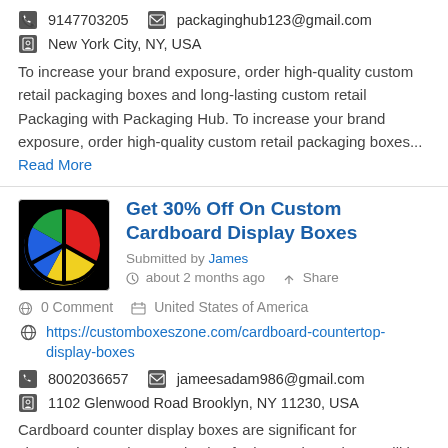9147703205   packaginghub123@gmail.com
New York City, NY, USA
To increase your brand exposure, order high-quality custom retail packaging boxes and long-lasting custom retail Packaging with Packaging Hub. To increase your brand exposure, order high-quality custom retail packaging boxes... Read More
[Figure (logo): Peace sign logo with red, yellow, blue, green sections on black circle background]
Get 30% Off On Custom Cardboard Display Boxes
Submitted by James
about 2 months ago   Share
0 Comment   United States of America
https://customboxeszone.com/cardboard-countertop-display-boxes
8002036657   jameesadam986@gmail.com
1102 Glenwood Road Brooklyn, NY 11230, USA
Cardboard counter display boxes are significant for showcasing products and value for increasing sales. It will be interesting to see the display boxes at the check counter. People come to... Read More